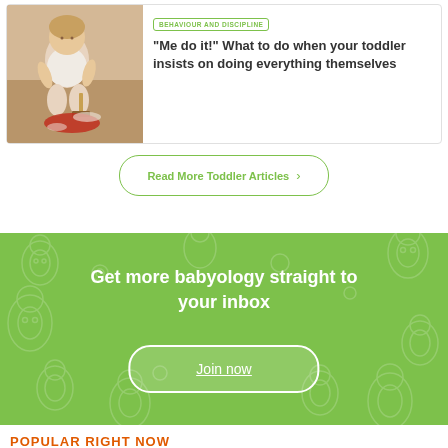[Figure (photo): A toddler sweeping up red powder on a floor with a small hand brush]
BEHAVIOUR AND DISCIPLINE
"Me do it!" What to do when your toddler insists on doing everything themselves
Read More Toddler Articles >
Get more babyology straight to your inbox
Join now
POPULAR RIGHT NOW